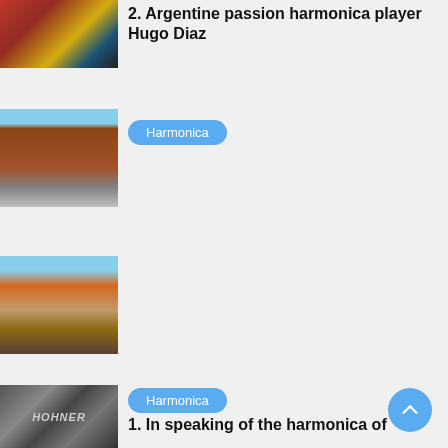[Figure (photo): Close-up of red and yellow flowers, possibly crocheted or artificial]
2. Argentine passion harmonica player Hugo Diaz
[Figure (photo): Urban street scene with brick building and parked cars]
Harmonica
[Figure (photo): Close-up of a baked pastry, possibly an empanada]
[Figure (photo): Close-up of a Hohner harmonica branding]
Harmonica
1. In speaking of the harmonica of